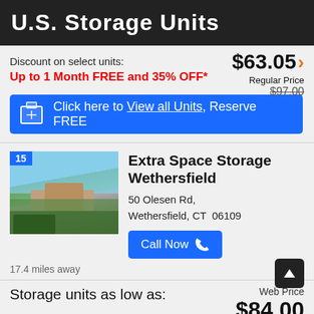U.S. Storage Units
$63.05
Regular Price
$97.00
Discount on select units:
Up to 1 Month FREE and 35% OFF*
Click here to View all Units, Reserve FREE
Extra Space Storage Wethersfield
50 Olesen Rd, Wethersfield, CT  06109
Call Now
17.4 miles away
Storage units as low as:
Web Price
$84.00